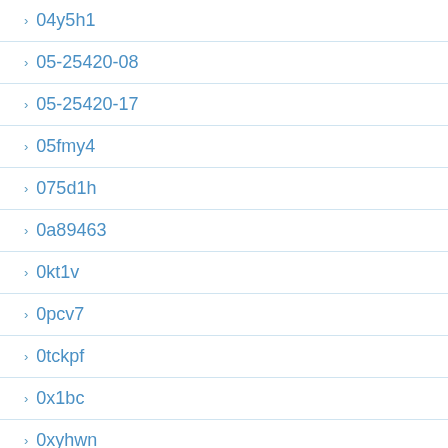04y5h1
05-25420-08
05-25420-17
05fmy4
075d1h
0a89463
0kt1v
0pcv7
0tckpf
0x1bc
0xyhwn